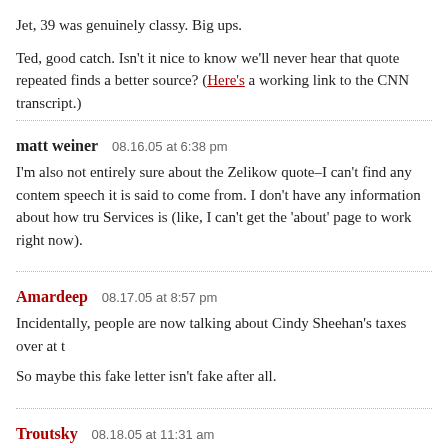Jet, 39 was genuinely classy. Big ups.
Ted, good catch. Isn't it nice to know we'll never hear that quote repeated finds a better source? (Here's a working link to the CNN transcript.)
matt weiner   08.16.05 at 6:38 pm
I'm also not entirely sure about the Zelikow quote–I can't find any contem speech it is said to come from. I don't have any information about how tru Services is (like, I can't get the 'about' page to work right now).
Amardeep   08.17.05 at 8:57 pm
Incidentally, people are now talking about Cindy Sheehan's taxes over at t
So maybe this fake letter isn't fake after all.
Troutsky   08.18.05 at 11:31 am